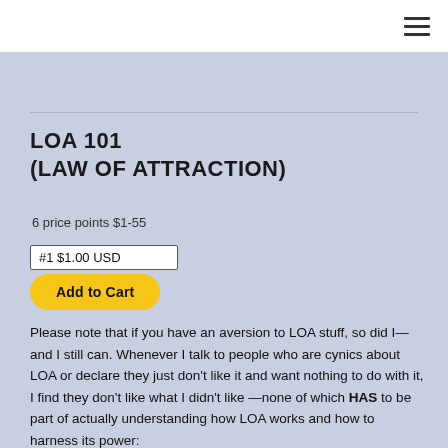☰
LOA 101
(LAW OF ATTRACTION)
6 price points $1-55
#1 $1.00 USD
Add to Cart
Please note that if you have an aversion to LOA stuff, so did I—and I still can. Whenever I talk to people who are cynics about LOA or declare they just don't like it and want nothing to do with it, I find they don't like what I didn't like —none of which HAS to be part of actually understanding how LOA works and how to harness its power: